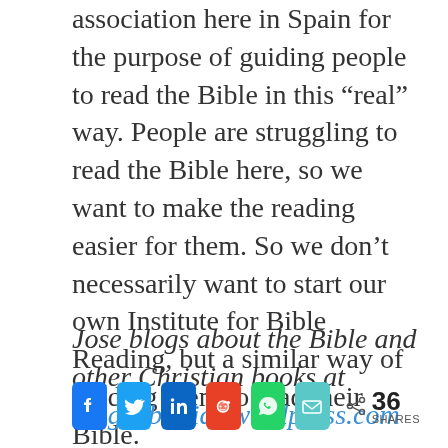association here in Spain for the purpose of guiding people to read the Bible in this “real” way. People are struggling to read the Bible here, so we want to make the reading easier for them. So we don’t necessarily want to start our own Institute for Bible Reading, but a similar way of guiding them to read their Bible.
Jose blogs about the Bible and other Christian books at blogdebiblias.wordpress.com
[Figure (infographic): Social share bar with Facebook, Twitter, LinkedIn, Reddit, WhatsApp, and Email buttons, plus a share count of 36 SHARES]